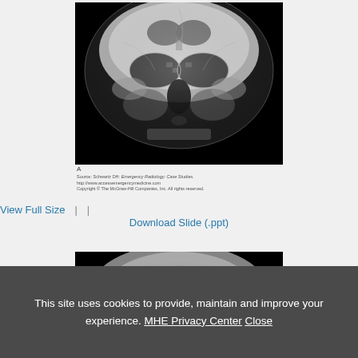[Figure (photo): Frontal skull X-ray (Waters view) showing sinuses and nasal structures, black and white radiograph]
A
Source: Schwartz DH: Emergency Radiology: Case Studies.
http://www.accessemergencymedicine.com
Copyright © The McGraw-Hill Companies, Inc. All rights reserved.
View Full Size | | Download Slide (.ppt)
[Figure (photo): Partial frontal skull X-ray (bottom portion), black and white radiograph]
This site uses cookies to provide, maintain and improve your experience. MHE Privacy Center Close